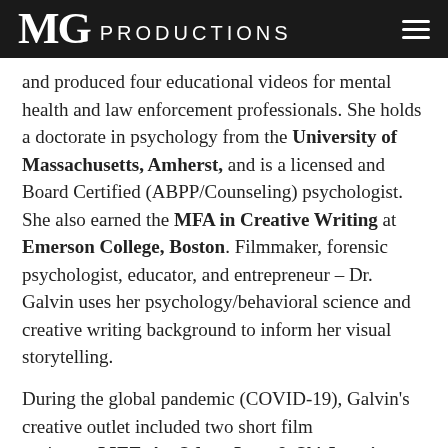MG PRODUCTIONS
and produced four educational videos for mental health and law enforcement professionals. She holds a doctorate in psychology from the University of Massachusetts, Amherst, and is a licensed and Board Certified (ABPP/Counseling) psychologist. She also earned the MFA in Creative Writing at Emerson College, Boston. Filmmaker, forensic psychologist, educator, and entrepreneur – Dr. Galvin uses her psychology/behavioral science and creative writing background to inform her visual storytelling.
During the global pandemic (COVID-19), Galvin's creative outlet included two short film projects. LIFT: An Ode to Love & Ski Jumping - with our world premiere slated for a live film festival in Turin, Italy, June 11-20, 2021. LIFT (7 min, TRT) pays homage to those who